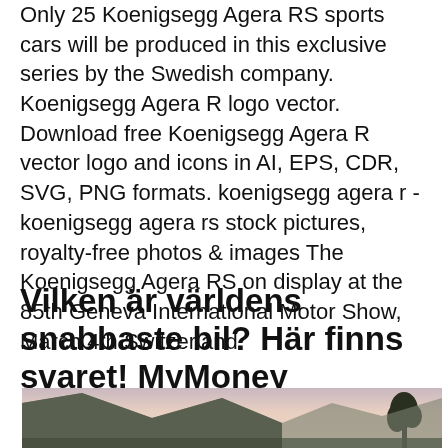Only 25 Koenigsegg Agera RS sports cars will be produced in this exclusive series by the Swedish company. Koenigsegg Agera R logo vector. Download free Koenigsegg Agera R vector logo and icons in AI, EPS, CDR, SVG, PNG formats. koenigsegg agera r - koenigsegg agera rs stock pictures, royalty-free photos & images The Koenigsegg Agera RS on display at the 85th Geneva International Motor Show, March 4th Switzerland.
Vilken är världens snabbaste bil? Här finns svaret! MyMoney
[Figure (photo): Landscape photo showing mountains and a tree silhouette against a dusk/sunset sky.]